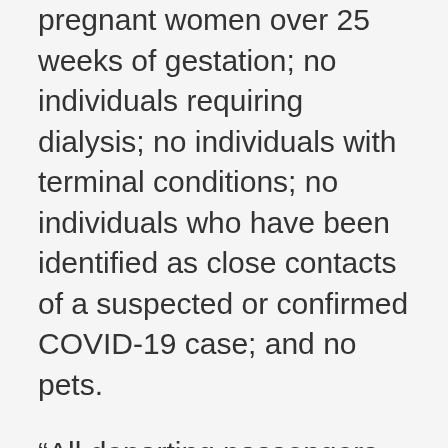pregnant women over 25 weeks of gestation; no individuals requiring dialysis; no individuals with terminal conditions; no individuals who have been identified as close contacts of a suspected or confirmed COVID-19 case; and no pets.
“All departing passengers two years of age and older are required to have a negative COVID Antigen Rapid Test (taken within 24 hours of boarding),” the US Embassy said. “A printed copy of your negative test results will be required prior to boarding the cruise ship.”
It said a testing centre, Health